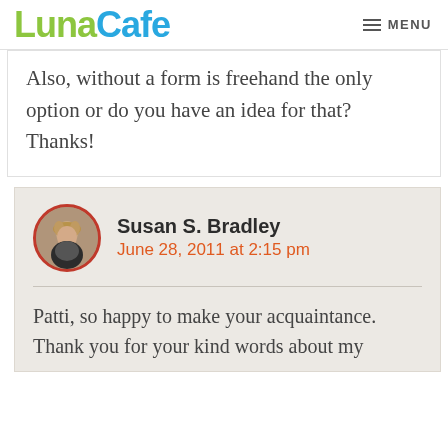LunaCafe | MENU
Also, without a form is freehand the only option or do you have an idea for that? Thanks!
Susan S. Bradley
June 28, 2011 at 2:15 pm
Patti, so happy to make your acquaintance. Thank you for your kind words about my